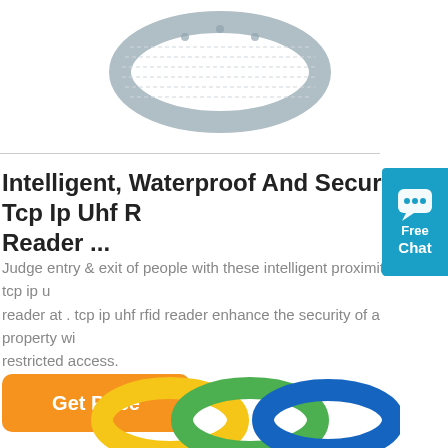[Figure (photo): A silver/grey wristband RFID reader device shown from above on white background]
Intelligent, Waterproof And Secure Tcp Ip Uhf Reader ...
Judge entry & exit of people with these intelligent proximity tcp ip uhf reader at . tcp ip uhf rfid reader enhance the security of a property with restricted access.
Get Price
[Figure (photo): Colorful plastic RFID wristband rings in yellow, green, and blue colors]